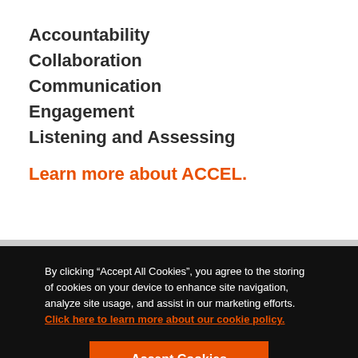Accountability
Collaboration
Communication
Engagement
Listening and Assessing
Learn more about ACCEL.
By clicking “Accept All Cookies”, you agree to the storing of cookies on your device to enhance site navigation, analyze site usage, and assist in our marketing efforts.  Click here to learn more about our cookie policy.
Accept Cookies